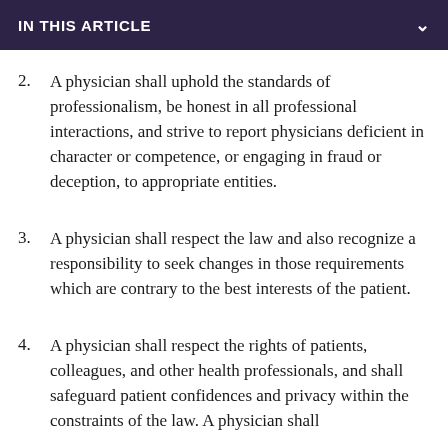IN THIS ARTICLE
2. A physician shall uphold the standards of professionalism, be honest in all professional interactions, and strive to report physicians deficient in character or competence, or engaging in fraud or deception, to appropriate entities.
3. A physician shall respect the law and also recognize a responsibility to seek changes in those requirements which are contrary to the best interests of the patient.
4. A physician shall respect the rights of patients, colleagues, and other health professionals, and shall safeguard patient confidences and privacy within the constraints of the law. A physician shall